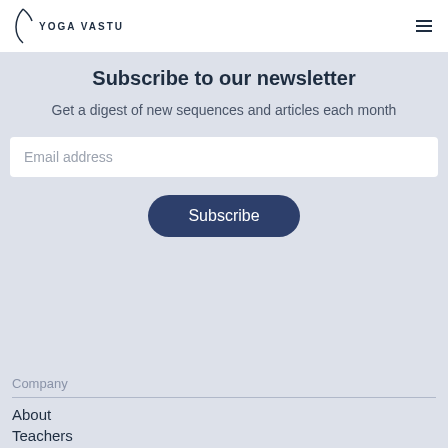YOGA VASTU
Subscribe to our newsletter
Get a digest of new sequences and articles each month
Email address
Subscribe
Company
About
Teachers